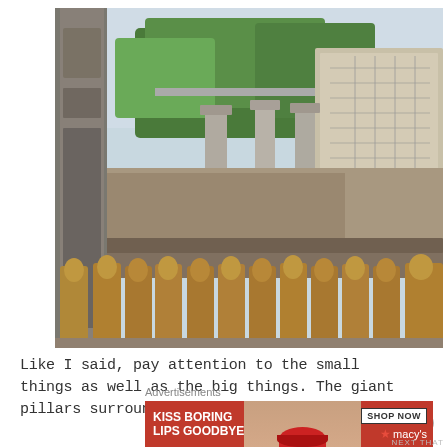[Figure (photo): Photograph of a Buddhist temple with rows of golden Kuan Yin statues in the foreground, ornate stone walls covered in small Buddha figurines in the middle, tall columns, large stone tablets with Chinese inscriptions on the right, and lush green bamboo trees in the background.]
Like I said, pay attention to the small things as well as the big things. The giant pillars surrounding Kuan Yin are
Advertisements
[Figure (other): Advertisement banner for Macy's: red background with white bold text 'KISS BORING LIPS GOODBYE', a woman's face with red lips in the center, and a 'SHOP NOW' button with Macy's star logo on the right.]